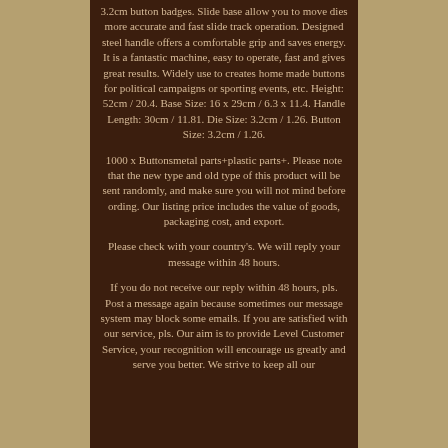3.2cm button badges. Slide base allow you to move dies more accurate and fast slide track operation. Designed steel handle offers a comfortable grip and saves energy. It is a fantastic machine, easy to operate, fast and gives great results. Widely use to creates home made buttons for political campaigns or sporting events, etc. Height: 52cm / 20.4. Base Size: 16 x 29cm / 6.3 x 11.4. Handle Length: 30cm / 11.81. Die Size: 3.2cm / 1.26. Button Size: 3.2cm / 1.26.
1000 x Buttonsmetal parts+plastic parts+. Please note that the new type and old type of this product will be sent randomly, and make sure you will not mind before ording. Our listing price includes the value of goods, packaging cost, and export.
Please check with your country's. We will reply your message within 48 hours.
If you do not receive our reply within 48 hours, pls. Post a message again because sometimes our message system may block some emails. If you are satisfied with our service, pls. Our aim is to provide Level Customer Service, your recognition will encourage us greatly and serve you better. We strive to keep all our